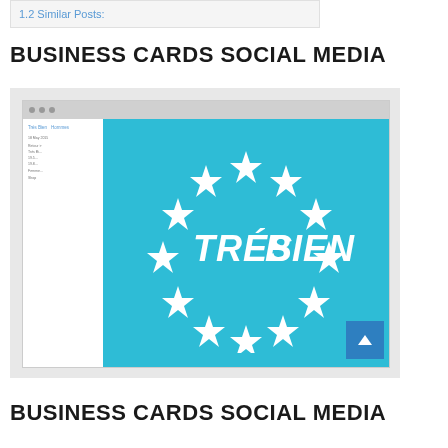1.2 Similar Posts:
BUSINESS CARDS SOCIAL MEDIA
[Figure (screenshot): Browser window screenshot showing the Tres Bien website with a teal background featuring the 'TRES BIEN' logo surrounded by white stars in a circular arrangement, resembling the EU flag style.]
BUSINESS CARDS SOCIAL MEDIA